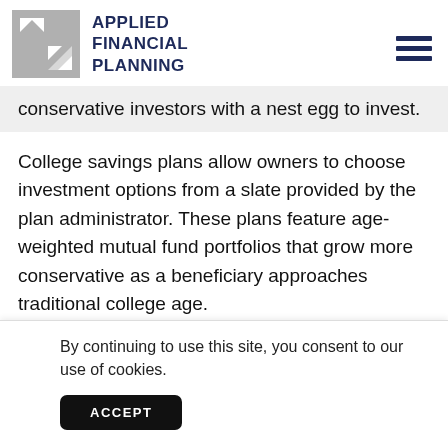APPLIED FINANCIAL PLANNING
conservative investors with a nest egg to invest.
College savings plans allow owners to choose investment options from a slate provided by the plan administrator. These plans feature age-weighted mutual fund portfolios that grow more conservative as a beneficiary approaches traditional college age.
Owners can also choose traditional mutual fund
O
If
By continuing to use this site, you consent to our use of cookies.
ACCEPT